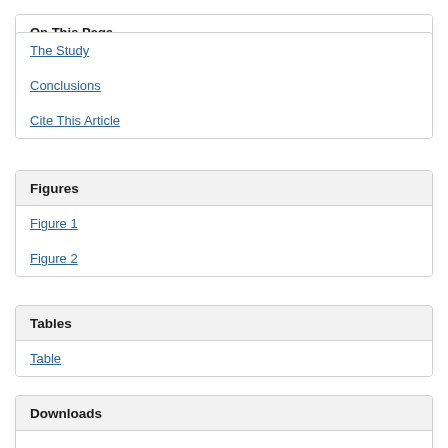On This Page
The Study
Conclusions
Cite This Article
Figures
Figure 1
Figure 2
Tables
Table
Downloads